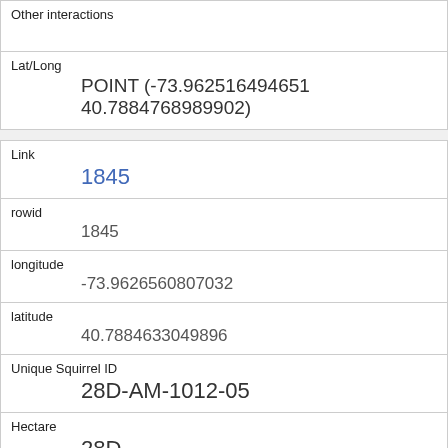Other interactions
Lat/Long
POINT (-73.962516494651 40.7884768989902)
Link
1845
rowid
1845
longitude
-73.9626560807032
latitude
40.7884633049896
Unique Squirrel ID
28D-AM-1012-05
Hectare
28D
Shift
AM
Date
10122018